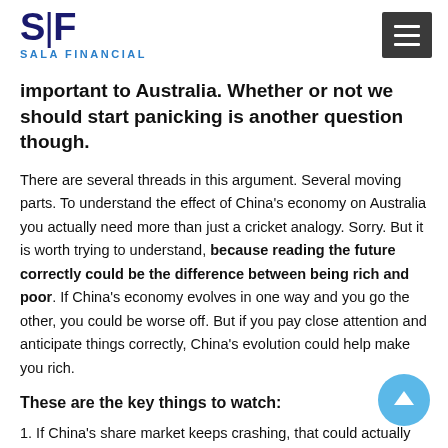SALA FINANCIAL
important to Australia. Whether or not we should start panicking is another question though.
There are several threads in this argument. Several moving parts. To understand the effect of China's economy on Australia you actually need more than just a cricket analogy. Sorry. But it is worth trying to understand, because reading the future correctly could be the difference between being rich and poor. If China's economy evolves in one way and you go the other, you could be worse off. But if you pay close attention and anticipate things correctly, China's evolution could help make you rich.
These are the key things to watch:
1. If China's share market keeps crashing, that could actually